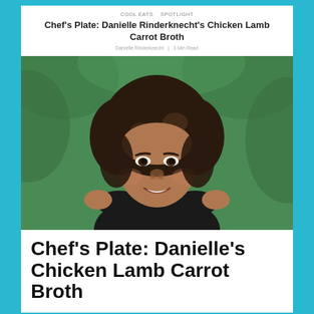COOL EATS  SPOTLIGHT
Chef's Plate: Danielle Rinderknecht's Chicken Lamb Carrot Broth
Danielle Rinderknecht  |  3 Min Read
[Figure (photo): Portrait photo of Danielle Rinderknecht, a woman with curly dark hair, smiling, wearing a black sleeveless top, with green foliage background]
Chef's Plate: Danielle's Chicken Lamb Carrot Broth